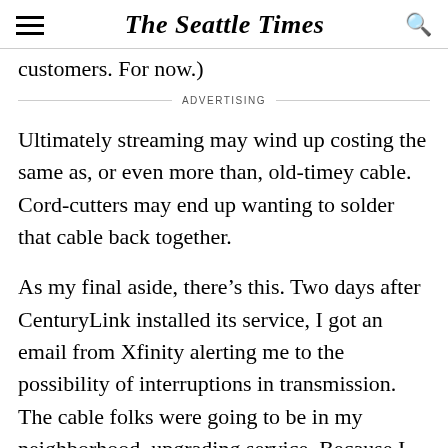The Seattle Times
customers. For now.)
ADVERTISING
Ultimately streaming may wind up costing the same as, or even more than, old-timey cable. Cord-cutters may end up wanting to solder that cable back together.
As my final aside, there’s this. Two days after CenturyLink installed its service, I got an email from Xfinity alerting me to the possibility of interruptions in transmission. The cable folks were going to be in my neighborhood, upgrading service. Because I no longer was using cable, I just smiled.